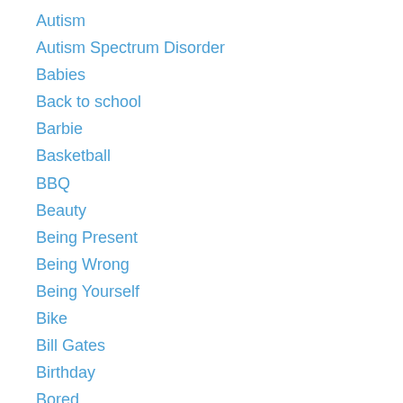Autism
Autism Spectrum Disorder
Babies
Back to school
Barbie
Basketball
BBQ
Beauty
Being Present
Being Wrong
Being Yourself
Bike
Bill Gates
Birthday
Bored
Brave
Business Travel
Busy
Camping
Cards